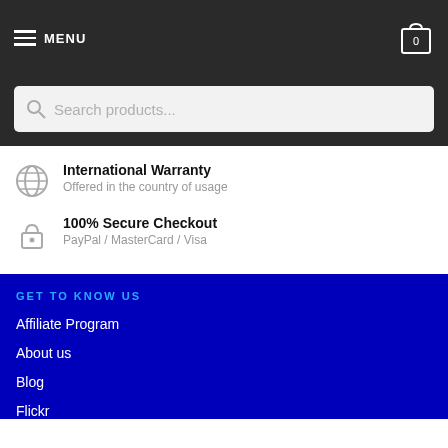MENU
Search products...
International Warranty
Offered in the country of usage
100% Secure Checkout
PayPal / MasterCard / Visa
GET TO KNOW US
Affiliate Program
About us
Blog
Flickr